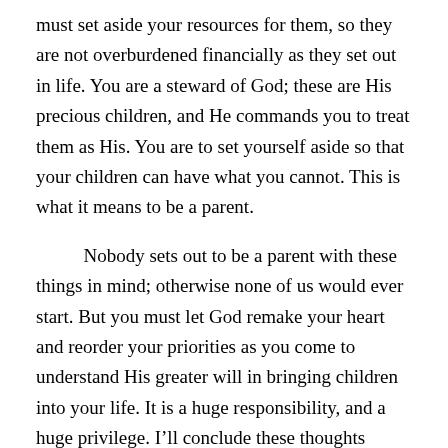must set aside your resources for them, so they are not overburdened financially as they set out in life. You are a steward of God; these are His precious children, and He commands you to treat them as His. You are to set yourself aside so that your children can have what you cannot. This is what it means to be a parent.
Nobody sets out to be a parent with these things in mind; otherwise none of us would ever start. But you must let God remake your heart and reorder your priorities as you come to understand His greater will in bringing children into your life. It is a huge responsibility, and a huge privilege. I’ll conclude these thoughts tomorrow.